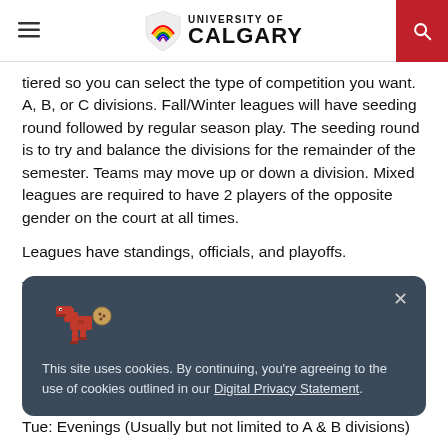University of Calgary
tiered so you can select the type of competition you want. A, B, or C divisions. Fall/Winter leagues will have seeding round followed by regular season play. The seeding round is to try and balance the divisions for the remainder of the semester. Teams may move up or down a division. Mixed leagues are required to have 2 players of the opposite gender on the court at all times.
Leagues have standings, officials, and playoffs.
Want to take your game to another level, try our esports leagues or tournaments and try and get the double championship.
This site uses cookies. By continuing, you're agreeing to the use of cookies outlined in our Digital Privacy Statement.
Tue: Evenings (Usually but not limited to A & B divisions)